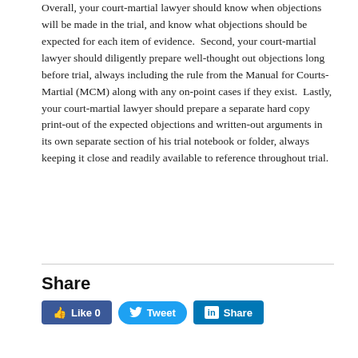Overall, your court-martial lawyer should know when objections will be made in the trial, and know what objections should be expected for each item of evidence.  Second, your court-martial lawyer should diligently prepare well-thought out objections long before trial, always including the rule from the Manual for Courts-Martial (MCM) along with any on-point cases if they exist.  Lastly, your court-martial lawyer should prepare a separate hard copy print-out of the expected objections and written-out arguments in its own separate section of his trial notebook or folder, always keeping it close and readily available to reference throughout trial.
Share
[Figure (other): Social share buttons: Facebook Like 0, Twitter Tweet, LinkedIn Share]